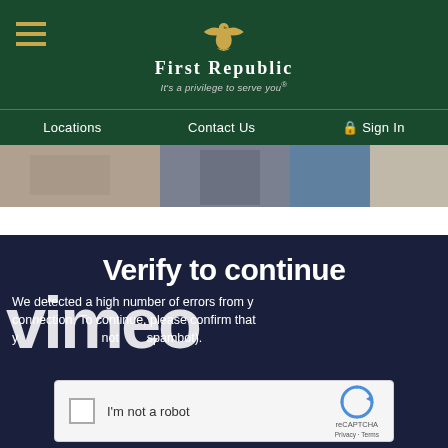First Republic — It's a privilege to serve you®
Locations   Contact Us   Sign In
[Figure (photo): Partial hero image showing people in a professional setting]
Verify to continue
We detected a high number of errors from your connection. To continue, please confirm that you are not a robot (spambot).
[Figure (logo): Vimeo watermark logo overlaying the verify panel]
[Figure (screenshot): reCAPTCHA checkbox widget with 'I'm not a robot' label and reCAPTCHA branding showing Privacy and Terms links]